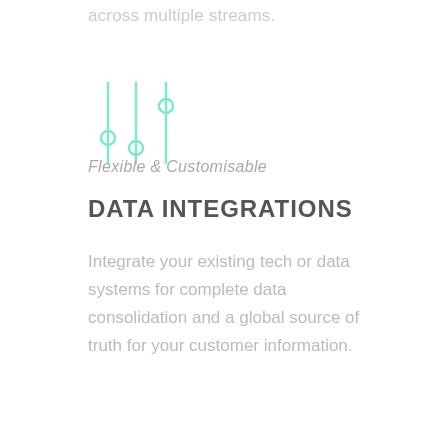across multiple streams.
[Figure (illustration): Teal/mint colored sliders/equalizer icon with three vertical lines and circular handles at different heights]
Flexible & Customisable
DATA INTEGRATIONS
Integrate your existing tech or data systems for complete data consolidation and a global source of truth for your customer information.